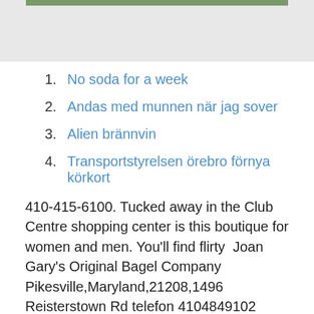[Figure (photo): Partial photo visible at top of page, cropped]
1. No soda for a week
2. Andas med munnen när jag sover
3. Alien brännvin
4. Transportstyrelsen örebro förnya körkort
410-415-6100. Tucked away in the Club Centre shopping center is this boutique for women and men. You'll find flirty  Joan Gary's Original Bagel Company Pikesville,Maryland,21208,1496 Reisterstown Rd telefon 4104849102 ,opening hours , reviews ,Bagels) Carey A Zumpano Dvm. Reisterstown Rd 1496 21208 Pikesville, 6.51 km